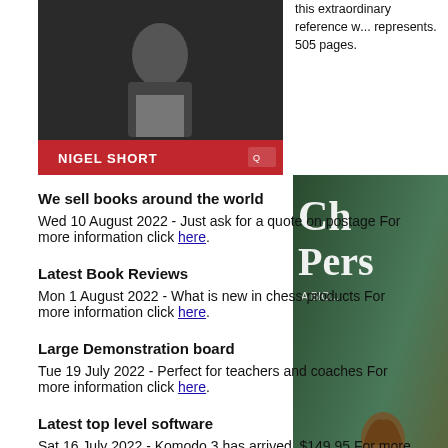[Figure (photo): Book cover showing Nigel Short, with red bar at bottom showing name]
this extraordinary reference w... represents. 505 pages.
[Figure (photo): Right side chess book cover showing chess pieces]
We sell books around the world
Wed 10 August 2022 - Just ask for a quote on postage For more information click here.
Latest Book Reviews
Mon 1 August 2022 - What is new in chess products For more information click here.
Large Demonstration board
Tue 19 July 2022 - Perfect for teachers and coaches For more information click here.
Latest top level software
Sat 16 July 2022 - Komodo 3 has arrived. $149.95 For more information click here.
[Figure (photo): Komodo chess software box with blue background and horse/dragon logo]
* *
Quantity: 0
Similar
Chess Bibliog... 1968, Botts, D...